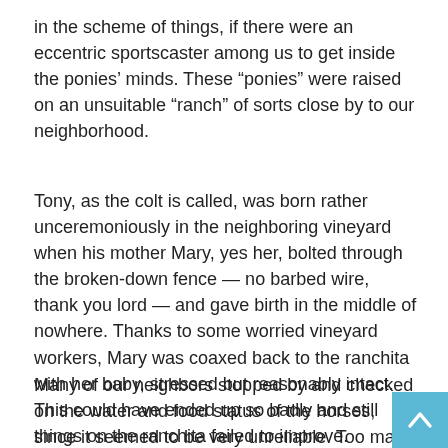in the scheme of things, if there were an eccentric sportscaster among us to get inside the ponies' minds. These “ponies” were raised on an unsuitable “ranch” of sorts close by to our neighborhood.
Tony, as the colt is called, was born rather unceremoniously in the neighboring vineyard when his mother Mary, yes her, bolted through the broken-down fence — no barbed wire, thank you lord — and gave birth in the middle of nowhere. Thanks to some worried vineyard workers, Mary was coaxed back to the ranchita with her baby, stressed but reasonably intact. This could have ended up so badly and still things on the ranchita failed to improve.
Many of our neighbors stopped by and checked on the water and food status of the horses, since it seemed to be very unreliable. Too many times I drove past and witnessed the